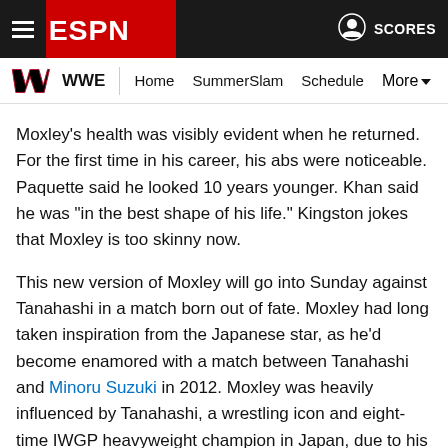ESPN | WWE — Home   SummerSlam   Schedule   More
Moxley's health was visibly evident when he returned. For the first time in his career, his abs were noticeable. Paquette said he looked 10 years younger. Khan said he was "in the best shape of his life." Kingston jokes that Moxley is too skinny now.
This new version of Moxley will go into Sunday against Tanahashi in a match born out of fate. Moxley had long taken inspiration from the Japanese star, as he'd become enamored with a match between Tanahashi and Minoru Suzuki in 2012. Moxley was heavily influenced by Tanahashi, a wrestling icon and eight-time IWGP heavyweight champion in Japan, due to his technical ability and signature flair inside the ring. Since leaving WWE, where he wrestled as Dean Ambrose, in 2019